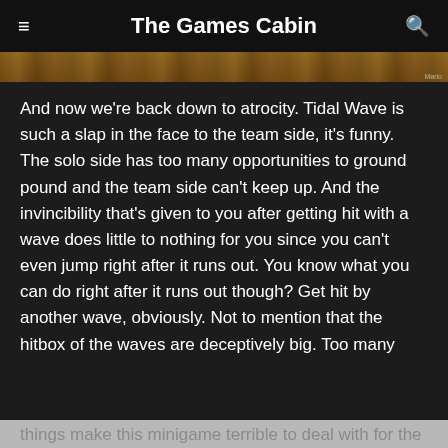The Games Cabin
[Figure (photo): Partial image strip at top, showing a brown/earthy textured surface, cropped from a larger image]
And now we're back down to atrocity. Tidal Wave is such a slap in the face to the team side, it's funny. The solo side has too many opportunities to ground pound and the team side can't keep up. And the invincibility that's given to you after getting hit with a wave does little to nothing for you since you can't even jump right after it runs out. You know what you can do right after it runs out though? Get hit by another wave, obviously. Not to mention that the hitbox of the waves are deceptively big. Too many things make this minigame terrible to deal with for the team side. I'm putting it below Manor of